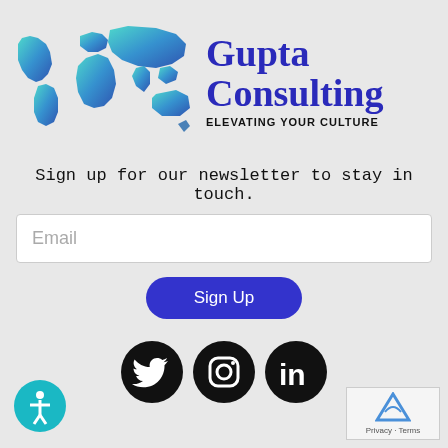[Figure (logo): Gupta Consulting logo with world map graphic in teal/blue gradient and company name 'Gupta Consulting' in dark blue serif font with tagline 'ELEVATING YOUR CULTURE']
Sign up for our newsletter to stay in touch.
[Figure (other): Email input field with placeholder text 'Email']
[Figure (other): Sign Up button in blue with rounded corners]
[Figure (other): Social media icons: Twitter, Instagram, LinkedIn — black circles with white icons]
[Figure (other): Accessibility icon (figure in circle) bottom left]
[Figure (other): reCAPTCHA badge bottom right with 'Privacy - Terms' text]